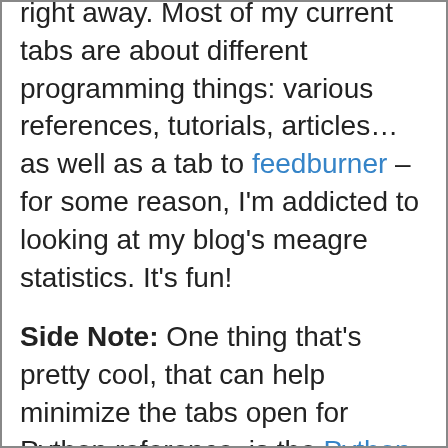right away. Most of my current tabs are about different programming things: various references, tutorials, articles… as well as a tab to feedburner – for some reason, I'm addicted to looking at my blog's meagre statistics. It's fun!
Side Note: One thing that's pretty cool, that can help minimize the tabs open for Python reference, is the Python sidebar. If there was only a pyGTK section in the sidebar….